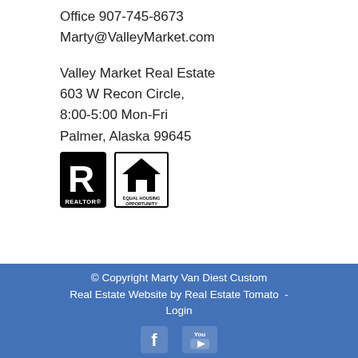Office 907-745-8673
Marty@ValleyMarket.com
Valley Market Real Estate
603 W Recon Circle,
8:00-5:00 Mon-Fri
Palmer, Alaska 99645
[Figure (logo): Realtor logo and Equal Housing Opportunity logo side by side]
© Copyright Marty Van Diest Custom Real Estate Website by Real Estate Tomato  -  Login